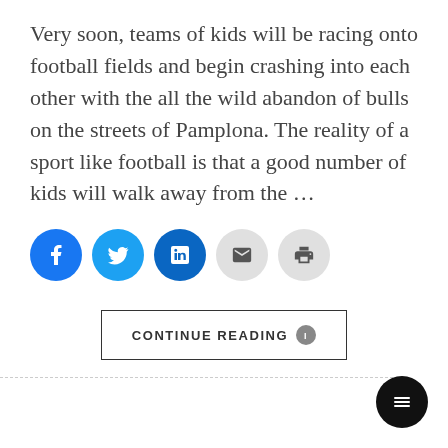Very soon, teams of kids will be racing onto football fields and begin crashing into each other with the all the wild abandon of bulls on the streets of Pamplona. The reality of a sport like football is that a good number of kids will walk away from the ...
[Figure (infographic): Social sharing buttons: Facebook (blue), Twitter (light blue), LinkedIn (dark blue), Email (grey), Print (grey)]
CONTINUE READING